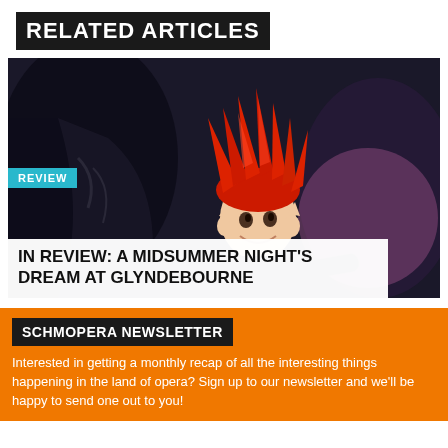RELATED ARTICLES
[Figure (photo): A child performer on stage wearing dramatic red spiked hair and pointed ears in costume for A Midsummer Night's Dream at Glyndebourne, with dark dramatic background.]
REVIEW
IN REVIEW: A MIDSUMMER NIGHT'S DREAM AT GLYNDEBOURNE
SCHMOPERA NEWSLETTER
Interested in getting a monthly recap of all the interesting things happening in the land of opera? Sign up to our newsletter and we'll be happy to send one out to you!